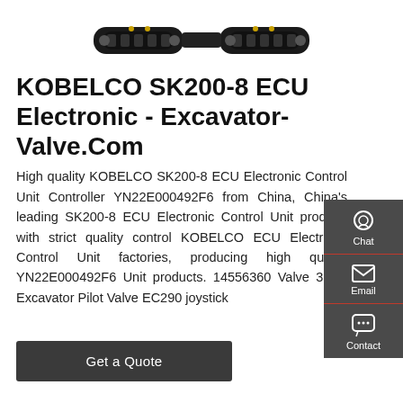[Figure (photo): Kobelco SK200-8 excavator undercarriage/tracks viewed from below, black rubber tracks on white background]
KOBELCO SK200-8 ECU Electronic - Excavator-Valve.Com
High quality KOBELCO SK200-8 ECU Electronic Control Unit Controller YN22E000492F6 from China, China's leading SK200-8 ECU Electronic Control Unit product, with strict quality control KOBELCO ECU Electronic Control Unit factories, producing high quality YN22E000492F6 Unit products. 14556360 Valve 314C Excavator Pilot Valve EC290 joystick
[Figure (infographic): Dark sidebar with three contact options: Chat (headset icon), Email (envelope icon), Contact (speech bubble icon)]
Get a Quote